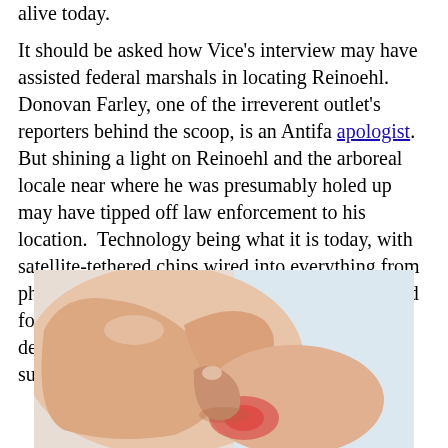alive today.
It should be asked how Vice's interview may have assisted federal marshals in locating Reinoehl.  Donovan Farley, one of the irreverent outlet's reporters behind the scoop, is an Antifa apologist.  But shining a light on Reinoehl and the arboreal locale near where he was presumably holed up may have tipped off law enforcement to his location.  Technology being what it is today, with satellite-tethered chips wired into everything from phones to watches to sneakers, it wouldn't be hard for the feds to home in on his location using the devices of his interviewers.  Reinoehl was the subject of a murder investigation, after all.
[Figure (photo): Close-up photo of a hand touching or pressing on a foot/heel area, with reddish inflammation visible near the heel.]